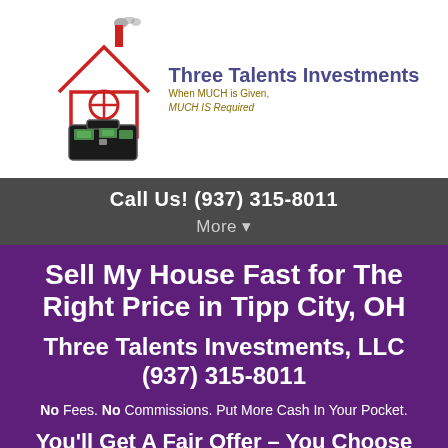[Figure (logo): Three Talents Investments logo with house illustration and briefcase with money]
Call Us! (937) 315-8011
More ▼
Sell My House Fast for The Right Price in Tipp City, OH
Three Talents Investments, LLC
(937) 315-8011
No Fees. No Commissions. Put More Cash In Your Pocket.
You'll Get A Fair Offer – You Choose The